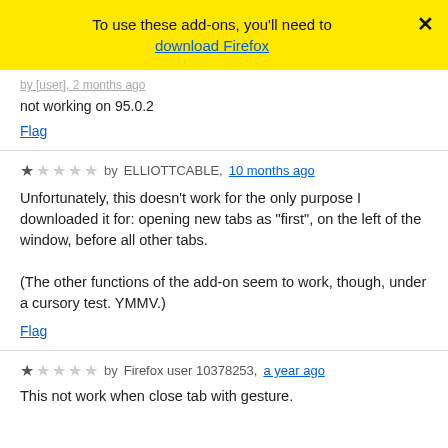To use these add-ons, you'll need to download Firefox
not working on 95.0.2
Flag
★☆☆☆☆ by ELLIOTTCABLE, 10 months ago
Unfortunately, this doesn't work for the only purpose I downloaded it for: opening new tabs as "first", on the left of the window, before all other tabs.

(The other functions of the add-on seem to work, though, under a cursory test. YMMV.)
Flag
★☆☆☆☆ by Firefox user 10378253, a year ago
This not work when close tab with gesture.